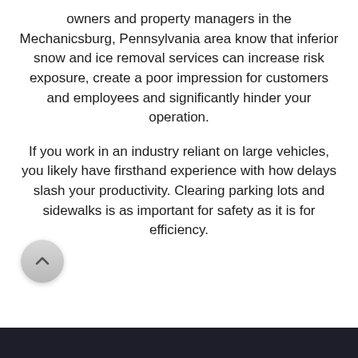owners and property managers in the Mechanicsburg, Pennsylvania area know that inferior snow and ice removal services can increase risk exposure, create a poor impression for customers and employees and significantly hinder your operation.
If you work in an industry reliant on large vehicles, you likely have firsthand experience with how delays slash your productivity. Clearing parking lots and sidewalks is as important for safety as it is for efficiency.